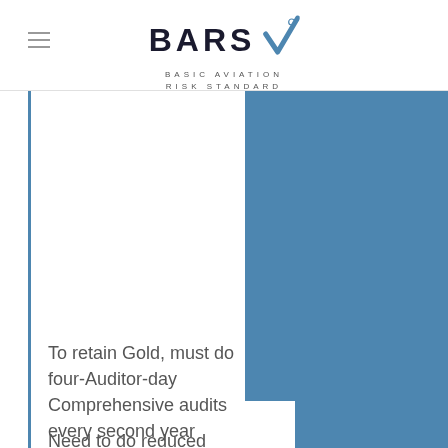[Figure (logo): BARS Basic Aviation Risk Standard logo with checkmark]
[Figure (illustration): Blue rectangular block on right side of page with a step cutout at bottom-left corner]
To retain Gold, must do four-Auditor-day Comprehensive audits every second year
Need to do reduced load